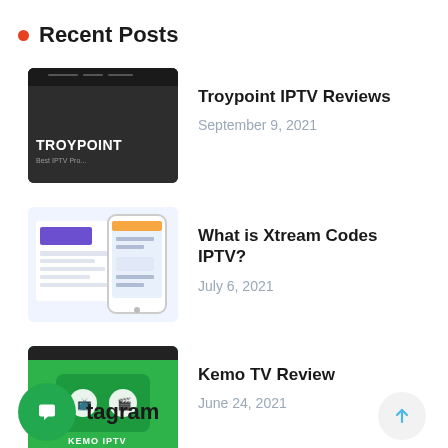Recent Posts
Troypoint IPTV Reviews — September 9, 2021
What is Xtream Codes IPTV? — July 6, 2021
Kemo TV Review — June 24, 2021
tagram